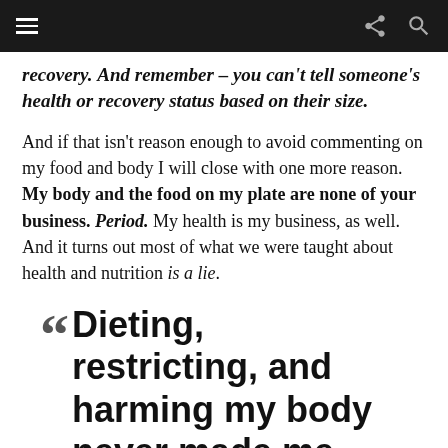[Navigation bar with hamburger menu, share icon, and search icon]
recovery. And remember – you can't tell someone's health or recovery status based on their size.
And if that isn't reason enough to avoid commenting on my food and body I will close with one more reason. My body and the food on my plate are none of your business. Period. My health is my business, as well. And it turns out most of what we were taught about health and nutrition is a lie.
Dieting, restricting, and harming my body never made me